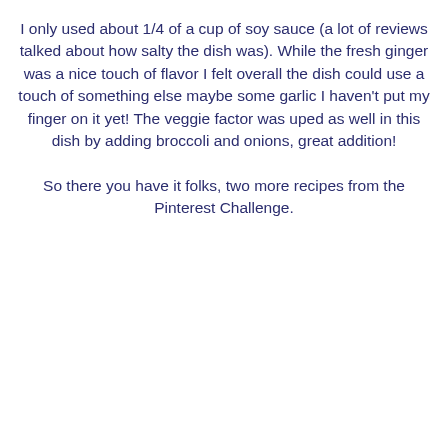I only used about 1/4 of a cup of soy sauce (a lot of reviews talked about how salty the dish was).  While the fresh ginger was a nice touch of flavor I felt overall the dish could use a touch of something else maybe some garlic I haven't put my finger on it yet!  The veggie factor was uped as well in this dish by adding broccoli and onions, great addition!
So there you have it folks, two more recipes from the Pinterest Challenge.